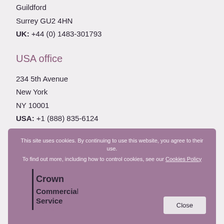Guildford
Surrey GU2 4HN
UK: +44 (0) 1483-301793
USA office
234 5th Avenue
New York
NY 10001
USA: +1 (888) 835-6124
This site uses cookies. By continuing to use this website, you agree to their use. To find out more, including how to control cookies, see our Cookies Policy
[Figure (logo): Crown Commercial Service Supplier logo]
Close